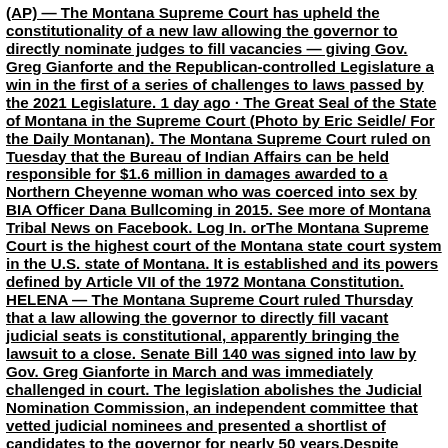(AP) — The Montana Supreme Court has upheld the constitutionality of a new law allowing the governor to directly nominate judges to fill vacancies — giving Gov. Greg Gianforte and the Republican-controlled Legislature a win in the first of a series of challenges to laws passed by the 2021 Legislature. 1 day ago · The Great Seal of the State of Montana in the Supreme Court (Photo by Eric Seidle/ For the Daily Montanan). The Montana Supreme Court ruled on Tuesday that the Bureau of Indian Affairs can be held responsible for $1.6 million in damages awarded to a Northern Cheyenne woman who was coerced into sex by BIA Officer Dana Bullcoming in 2015. See more of Montana Tribal News on Facebook. Log In. orThe Montana Supreme Court is the highest court of the Montana state court system in the U.S. state of Montana. It is established and its powers defined by Article VII of the 1972 Montana Constitution. HELENA — The Montana Supreme Court ruled Thursday that a law allowing the governor to directly fill vacant judicial seats is constitutional, apparently bringing the lawsuit to a close. Senate Bill 140 was signed into law by Gov. Greg Gianforte in March and was immediately challenged in court. The legislation abolishes the Judicial Nomination Commission, an independent committee that vetted judicial nominees and presented a shortlist of candidates to the governor for nearly 50 years.Despite Montana's mainstream press outlets largely